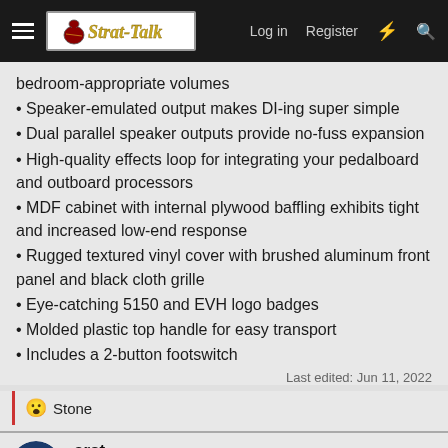Strat-Talk — Login | Register
bedroom-appropriate volumes
Speaker-emulated output makes DI-ing super simple
Dual parallel speaker outputs provide no-fuss expansion
High-quality effects loop for integrating your pedalboard and outboard processors
MDF cabinet with internal plywood baffling exhibits tight and increased low-end response
Rugged textured vinyl cover with brushed aluminum front panel and black cloth grille
Eye-catching 5150 and EVH logo badges
Molded plastic top handle for easy transport
Includes a 2-button footswitch
Last edited: Jun 11, 2022
😮 Stone
arct
Senior Stratmaster